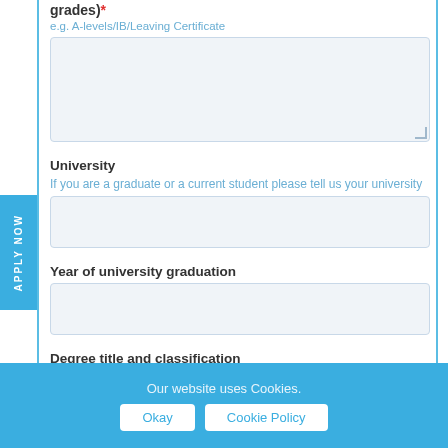grades)*
e.g. A-levels/IB/Leaving Certificate
[textarea: qualifications/grades input]
University
If you are a graduate or a current student please tell us your university
[text input: university]
Year of university graduation
[text input: year of university graduation]
Degree title and classification
[text input: degree title and classification]
Our website uses Cookies.
Okay  Cookie Policy